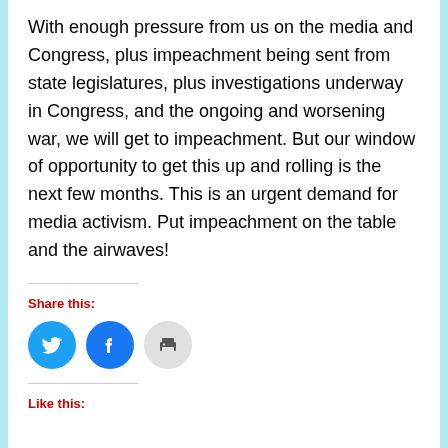With enough pressure from us on the media and Congress, plus impeachment being sent from state legislatures, plus investigations underway in Congress, and the ongoing and worsening war, we will get to impeachment. But our window of opportunity to get this up and rolling is the next few months. This is an urgent demand for media activism. Put impeachment on the table and the airwaves!
Share this:
[Figure (illustration): Three circular social sharing icons: Twitter (blue bird), Facebook (blue f), and Print (grey printer)]
Like this: